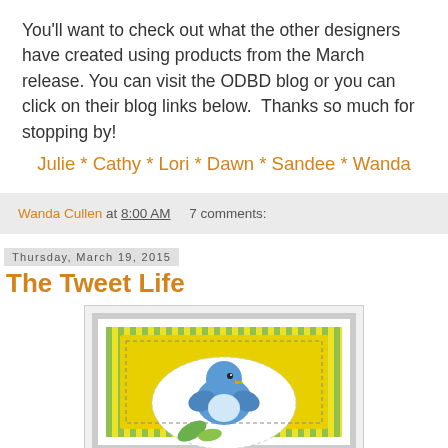You'll want to check out what the other designers have created using products from the March release. You can visit the ODBD blog or you can click on their blog links below.  Thanks so much for stopping by!
Julie * Cathy * Lori * Dawn * Sandee * Wanda
Wanda Cullen at 8:00 AM    7 comments:
Thursday, March 19, 2015
The Tweet Life
[Figure (photo): A handmade greeting card featuring a blue bird on a yellow and green striped background with white oval and stitched border details.]